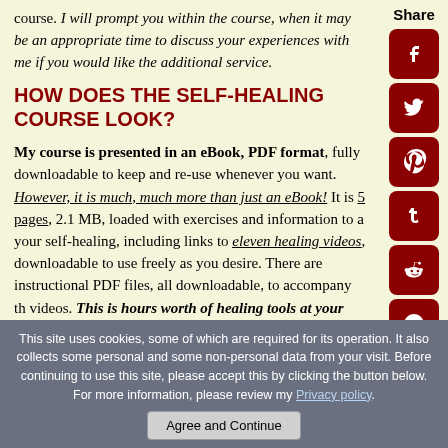course. I will prompt you within the course, when it may be an appropriate time to discuss your experiences with me if you would like the additional service.
HOW DOES THE SELF-HEALING COURSE LOOK?
My course is presented in an eBook, PDF format, fully downloadable to keep and re-use whenever you want. However, it is much, much more than just an eBook! It is 5 pages, 2.1 MB, loaded with exercises and information to a your self-healing, including links to eleven healing videos, downloadable to use freely as you desire. There are instructional PDF files, all downloadable, to accompany th videos. This is hours worth of healing tools at your
Share
[Figure (infographic): Social media share icons: Facebook, Twitter, Pinterest, Tumblr, Reddit, WhatsApp — dark red rounded square buttons in a vertical sidebar]
This site uses cookies, some of which are required for its operation. It also collects some personal and some non-personal data from your visit. Before continuing to use this site, please accept this by clicking the button below. For more information, please review my Privacy policy.
Agree and Continue